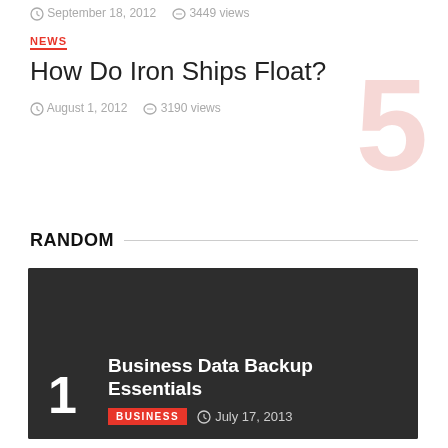September 18, 2012  3449 views
NEWS
How Do Iron Ships Float?
August 1, 2012  3190 views
RANDOM
[Figure (photo): Dark background card image placeholder]
1  Business Data Backup Essentials
BUSINESS  July 17, 2013